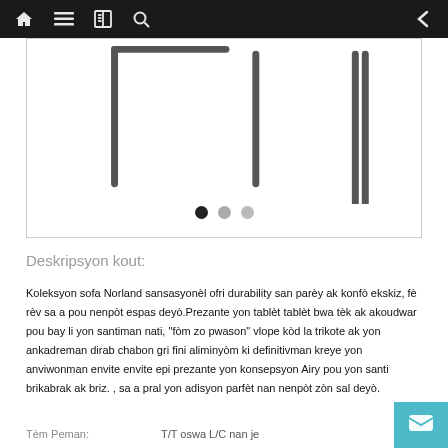Navigation bar with home, menu, book, search, and back icons
[Figure (photo): Product photo of a Norland sofa/chair set on white background with carousel dots below]
Deskripsyon kout:
Koleksyon sofa Norland sansasyonèl ofri durability san parèy ak konfò ekskiz, fè rèv sa a pou nenpòt espas deyò.Prezante yon tablèt tablèt bwa tèk ak akoudwar pou bay li yon santiman nati, "fòm zo pwason" vlope kòd la trikote ak yon ankadreman dirab chabon gri fini aliminyòm ki definitivman kreye yon anviwonman envite envite epi prezante yon konsepsyon Airy pou yon santi brikabrak ak briz. , sa a pral yon adisyon parfèt nan nenpòt zòn sal deyò.
Tèm Peman:    T/T oswa L/C nan je